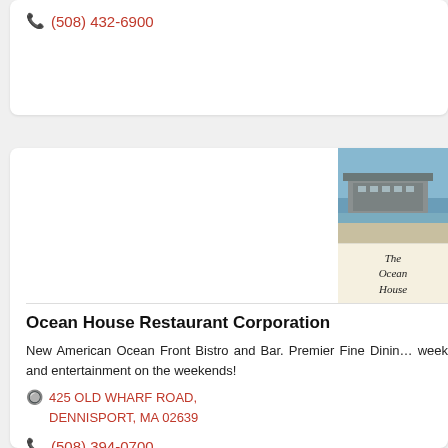(508) 432-6900
[Figure (photo): Photo of Ocean House restaurant building from the water, with menu card showing 'The Ocean House']
Ocean House Restaurant Corporation
New American Ocean Front Bistro and Bar. Premier Fine Dining week and entertainment on the weekends!
425 OLD WHARF ROAD, DENNISPORT, MA 02639
(508) 394-0700